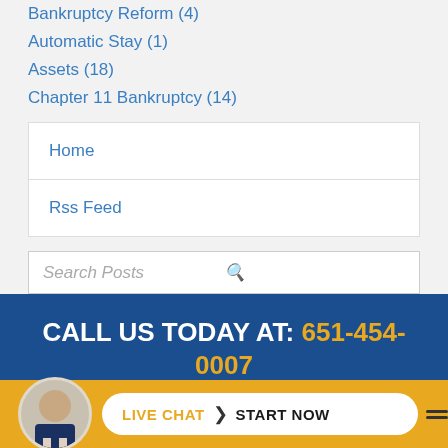Bankruptcy Reform (4)
Automatic Stay (1)
Assets (18)
Chapter 11 Bankruptcy (14)
Home
Rss Feed
Search Posts
CALL US TODAY AT: 651-454-0007
GET A FREE CONSULTATION
LIVE CHAT START NOW